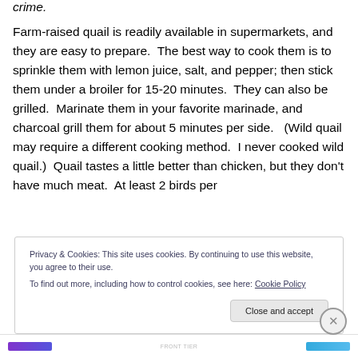crime.
Farm-raised quail is readily available in supermarkets, and they are easy to prepare.  The best way to cook them is to sprinkle them with lemon juice, salt, and pepper; then stick them under a broiler for 15-20 minutes.  They can also be grilled.  Marinate them in your favorite marinade, and charcoal grill them for about 5 minutes per side.   (Wild quail may require a different cooking method.  I never cooked wild quail.)  Quail tastes a little better than chicken, but they don't have much meat.  At least 2 birds per
Privacy & Cookies: This site uses cookies. By continuing to use this website, you agree to their use.
To find out more, including how to control cookies, see here: Cookie Policy
Close and accept